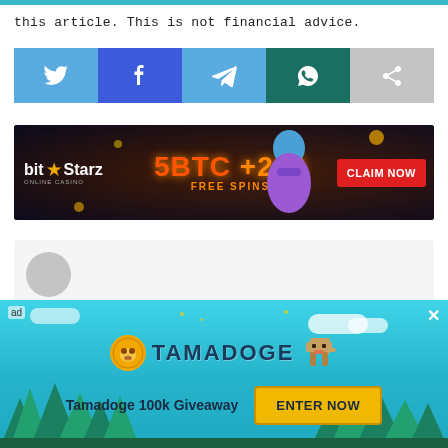this article. This is not financial advice.
[Figure (infographic): Social share buttons: Twitter (blue bird icon), Facebook (dark blue F icon), Telegram (light blue paper plane icon), WhatsApp (teal phone icon), Share (gray arrow icon)]
[Figure (infographic): BitStarz online casino advertisement banner: '5BTC +200 FREE SPINS CLAIM NOW' with genie character on dark background]
[Figure (infographic): Author box with gray avatar circle on light gray background]
[Figure (infographic): Tamadoge 100k Giveaway advertisement banner with teal background, trees, logo, dog mascot, and ENTER NOW button]